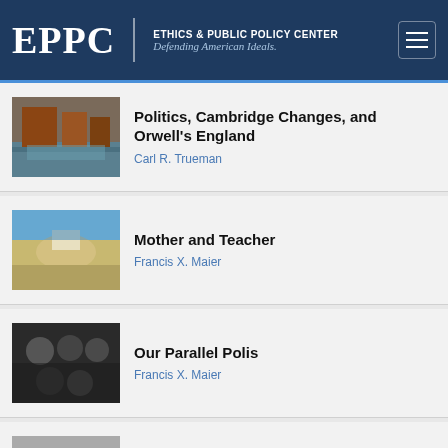EPPC | ETHICS & PUBLIC POLICY CENTER — Defending American Ideals.
Politics, Cambridge Changes, and Orwell's England
Carl R. Trueman
Mother and Teacher
Francis X. Maier
Our Parallel Polis
Francis X. Maier
The Power of the Powerless
Francis X. Maier